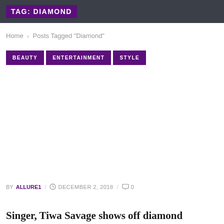TAG: DIAMOND
Home › Posts Tagged "Diamond"
BEAUTY
ENTERTAINMENT
STYLE
BY ALLURE1 / DECEMBER 2, 2018 / 0
Singer, Tiwa Savage shows off diamond